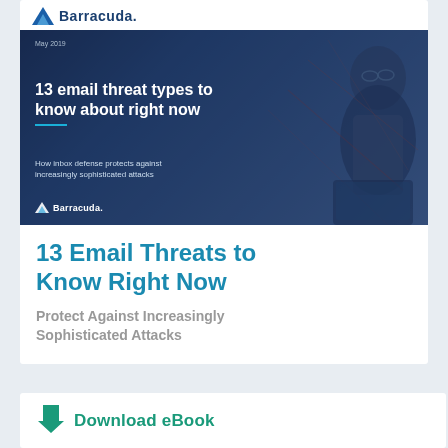Barracuda
[Figure (illustration): eBook cover showing a man with glasses in a dark blue tech background with the title '13 email threat types to know about right now' and subtitle 'How inbox defense protects against increasingly sophisticated attacks' with Barracuda logo]
13 Email Threats to Know Right Now
Protect Against Increasingly Sophisticated Attacks
Download eBook